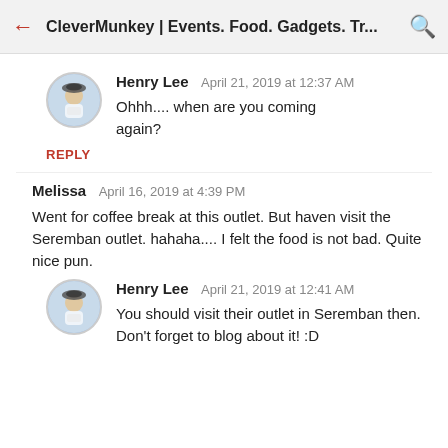CleverMunkey | Events. Food. Gadgets. Tr...
Henry Lee  April 21, 2019 at 12:37 AM
Ohhh.... when are you coming again?
REPLY
Melissa  April 16, 2019 at 4:39 PM
Went for coffee break at this outlet. But haven visit the Seremban outlet. hahaha.... I felt the food is not bad. Quite nice pun.
Henry Lee  April 21, 2019 at 12:41 AM
You should visit their outlet in Seremban then. Don't forget to blog about it! :D